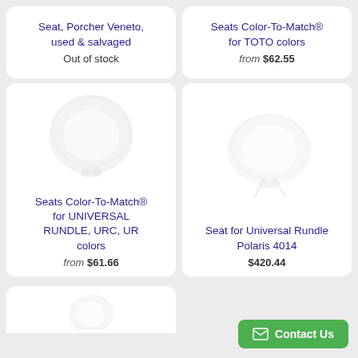Seat, Porcher Veneto, used & salvaged
Out of stock
Seats Color-To-Match® for TOTO colors
from $62.55
[Figure (photo): Toilet seat product image for UNIVERSAL RUNDLE, URC, UR colors]
Seats Color-To-Match® for UNIVERSAL RUNDLE, URC, UR colors
from $61.66
[Figure (photo): Toilet seat product image for Universal Rundle Polaris 4014]
Seat for Universal Rundle Polaris 4014
$420.44